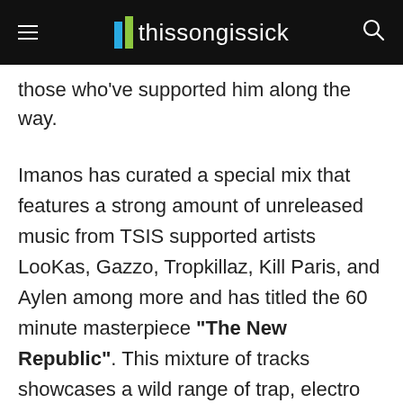thissongissick
those who've supported him along the way.
Imanos has curated a special mix that features a strong amount of unreleased music from TSIS supported artists LooKas, Gazzo, Tropkillaz, Kill Paris, and Aylen among more and has titled the 60 minute masterpiece "The New Republic". This mixture of tracks showcases a wild range of trap, electro and house gems while keeping the dance vibes at all time high. With a free download available as well, you have no excuse to not add this to music library right